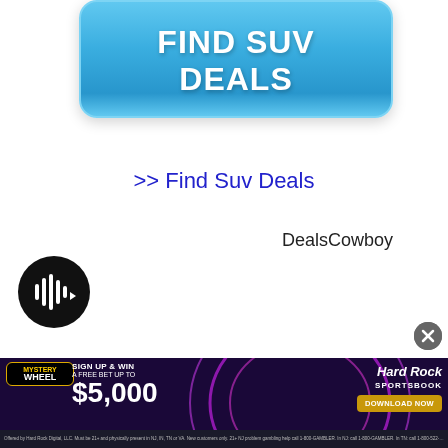[Figure (other): Blue gradient rounded rectangle button with bold white text reading FIND SUV DEALS]
>> Find Suv Deals
DealsCowboy
[Figure (other): Black circular audio/podcast player button with white play icon]
[Figure (other): Gray close (X) circle button]
[Figure (other): Hard Rock Sportsbook advertisement banner: Mystery Wheel, Sign Up & Win A Free Bet Up To $5,000, Download Now button, fine print text]